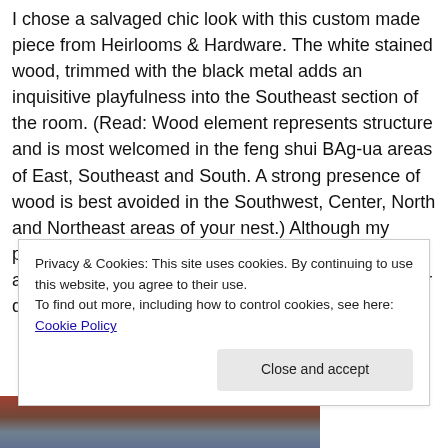I chose a salvaged chic look with this custom made piece from Heirlooms & Hardware. The white stained wood, trimmed with the black metal adds an inquisitive playfulness into the Southeast section of the room. (Read: Wood element represents structure and is most welcomed in the feng shui BAg-ua areas of East, Southeast and South. A strong presence of wood is best avoided in the Southwest, Center, North and Northeast areas of your nest.) Although my primary goal was to design a sturdy table where my aspiring scientists can experiment with anything their developing minds transport them to, I knew I
Privacy & Cookies: This site uses cookies. By continuing to use this website, you agree to their use.
To find out more, including how to control cookies, see here: Cookie Policy
[Figure (photo): Partial view of a photo at bottom of page showing colorful items, appears to be lab or craft materials]